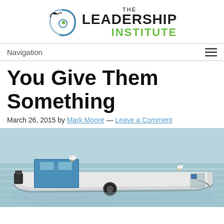[Figure (logo): The Leadership Institute logo with circular bird/wave icon and green/black text]
Navigation
You Give Them Something
March 26, 2015 by Mark Moore — Leave a Comment
[Figure (photo): A fishing boat floating on calm water with two seagulls perched on it]